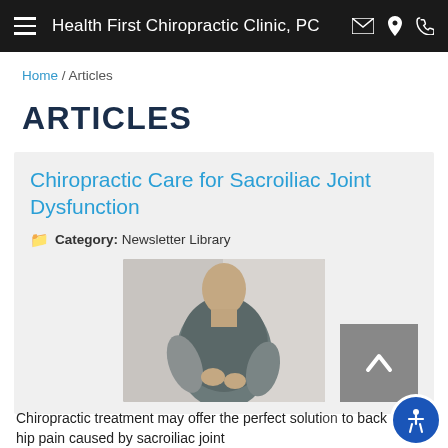Health First Chiropractic Clinic, PC
Home / Articles
ARTICLES
Chiropractic Care for Sacroiliac Joint Dysfunction
Category: Newsletter Library
[Figure (photo): Person in grey t-shirt bending and holding lower back/hip area with both hands, against a light grey background]
Chiropractic treatment may offer the perfect solution to back and hip pain caused by sacroiliac joint